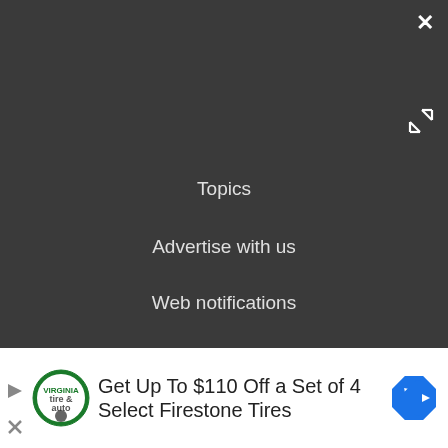[Figure (screenshot): Video player with play button, PLAY SOUND label, LS logo, mute icon, and yellow progress bar on dark background]
Topics
Advertise with us
Web notifications
Careers
Do not sell my info
[Figure (infographic): Advertisement banner: Get Up To $110 Off a Set of 4 Select Firestone Tires with Firestone tire & auto logo and blue navigation arrow icon]